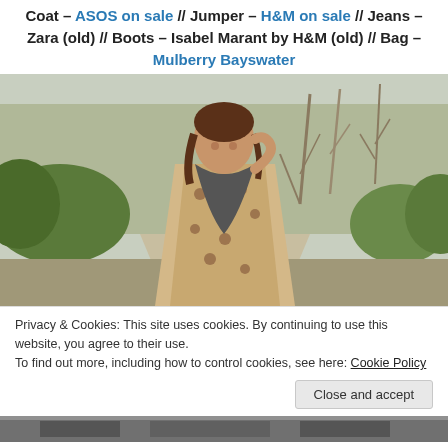Coat – ASOS on sale // Jumper – H&M on sale // Jeans – Zara (old) // Boots – Isabel Marant by H&M (old) // Bag – Mulberry Bayswater
[Figure (photo): Woman wearing a leopard print coat and black scarf, smiling in an outdoor park setting with bare trees in the background]
Privacy & Cookies: This site uses cookies. By continuing to use this website, you agree to their use.
To find out more, including how to control cookies, see here: Cookie Policy
[Figure (photo): Partial view of another photo at the bottom of the page, appears to show outdoor/street scene]